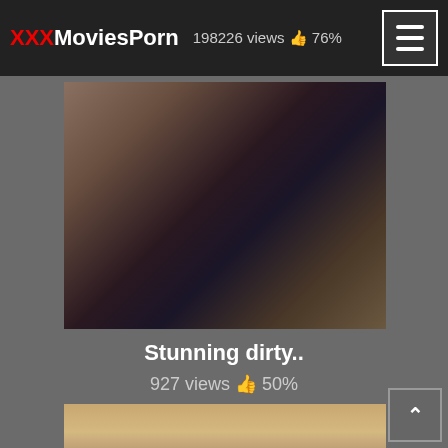XXXMoviesPorn | 198226 views 👍 76%
[Figure (photo): Screenshot of adult video website showing a thumbnail image of two people in an intimate scene, with dark background]
Stunning dirty..
927 views 👍 50%
[Figure (photo): Partial thumbnail at bottom showing a blonde woman's face close-up]